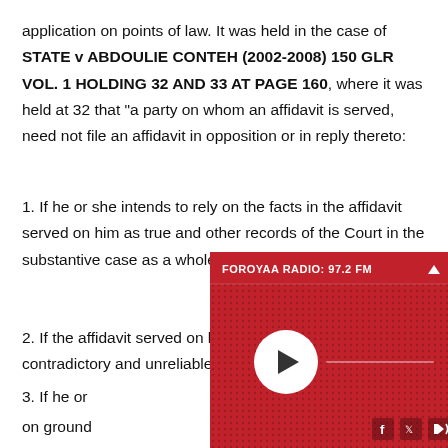application on points of law. It was held in the case of STATE v ABDOULIE CONTEH (2002-2008) 150 GLR VOL. 1 HOLDING 32 AND 33 AT PAGE 160, where it was held at 32 that "a party on whom an affidavit is served, need not file an affidavit in opposition or in reply thereto:
1. If he or she intends to rely on the facts in the affidavit served on him as true and other records of the Court in the substantive case as a whole; or
2. If the affidavit served on him contain facts that are self contradictory and unreliable, or
3. If he or [she intends to challenge the affidavit] on ground[s of law]
It was held [that...] an affidavi[t...]
[Figure (other): FOROYAA RADIO: 97.2 FM radio player widget overlay with red background, play button, progress bar, and social media icons (Facebook, Twitter, speaker)]